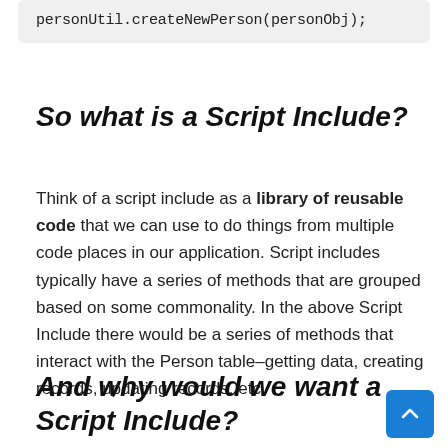personUtil.createNewPerson(personObj);
So what is a Script Include?
Think of a script include as a library of reusable code that we can use to do things from multiple code places in our application. Script includes typically have a series of methods that are grouped based on some commonality. In the above Script Include there would be a series of methods that interact with the Person table–getting data, creating records, updating records, etc.
And why would we want a Script Include?